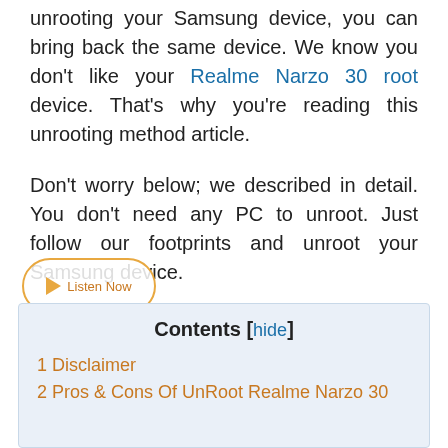unrooting your Samsung device, you can bring back the same device. We know you don't like your Realme Narzo 30 root device. That's why you're reading this unrooting method article.
Don't worry below; we described in detail. You don't need any PC to unroot. Just follow our footprints and unroot your Samsung device.
Before going to unroot Realme Narzo 30 device, make sure you know how it'll affect your freedom in OS.
Contents [hide]
1 Disclaimer
2 Pros & Cons Of UnRoot Realme Narzo 30